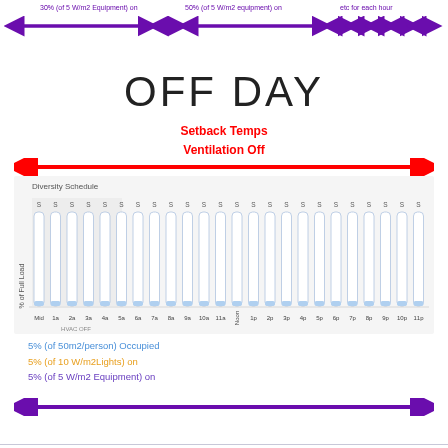[Figure (infographic): Top purple double-headed arrows with text labels: 30% (of 5 W/m2 equipment) on, 50% (of 5 W/m2 equipment) on, etc for each hour]
OFF DAY
Setback Temps
Ventilation Off
[Figure (infographic): Red double-headed arrow spanning full width]
[Figure (bar-chart): Diversity Schedule bar chart showing % of Full Load across 24 hours from Mid to 11p, with HVAC OFF label in morning hours. All bars show low values (~5%). Hours: Mid, 1a, 2a, 3a, 4a, 5a, 6a, 7a, 8a, 9a, 10a, 11a, Noon, 1p, 2p, 3p, 4p, 5p, 6p, 7p, 8p, 9p, 10p, 11p]
5% (of 50m2/person) Occupied
5% (of 10 W/m2Lights) on
5% (of 5 W/m2 Equipment) on
[Figure (infographic): Bottom purple double-headed arrow spanning full width]